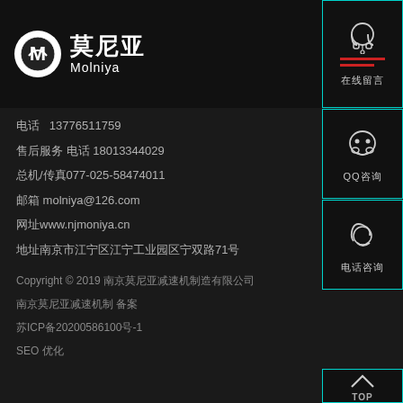[Figure (logo): Molniya company logo with circular M icon and Chinese/English company name: 莫尼亚 Molniya]
电话   13776511759
售后服务 电话 18013344029
总机/传真077-025-58474011
邮箱 molniya@126.com
网址www.njmoniya.cn
地址南京市江宁区江宁工业园区宁双路71号
Copyright © 2019 南京莫尼亚减速机制造有限公司
南京莫尼亚减速机制 备案
苏ICP备20200586100号-1
SEO 优化